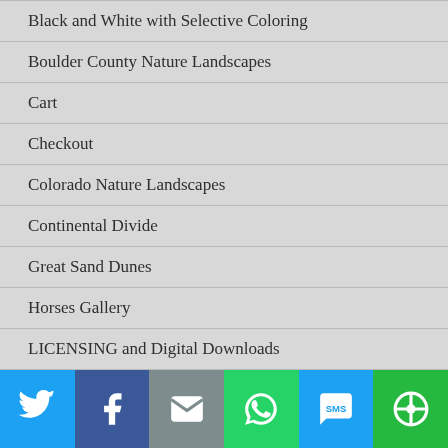Black and White with Selective Coloring
Boulder County Nature Landscapes
Cart
Checkout
Colorado Nature Landscapes
Continental Divide
Great Sand Dunes
Horses Gallery
LICENSING and Digital Downloads
Lightning Thunderstorms Weather Gallery
Longs Peak Gallery
My account
[Figure (infographic): Social sharing toolbar with Twitter, Facebook, Email, WhatsApp, SMS, and More buttons]